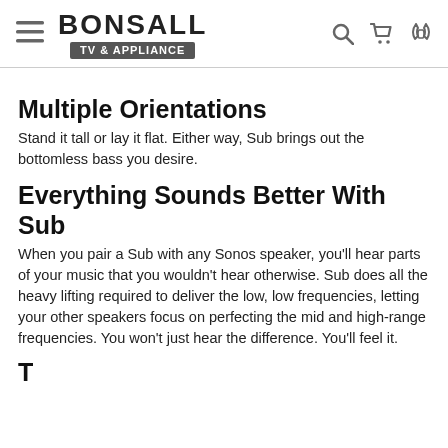BONSALL TV & APPLIANCE
Multiple Orientations
Stand it tall or lay it flat. Either way, Sub brings out the bottomless bass you desire.
Everything Sounds Better With Sub
When you pair a Sub with any Sonos speaker, you'll hear parts of your music that you wouldn't hear otherwise. Sub does all the heavy lifting required to deliver the low, low frequencies, letting your other speakers focus on perfecting the mid and high-range frequencies. You won't just hear the difference. You'll feel it.
...